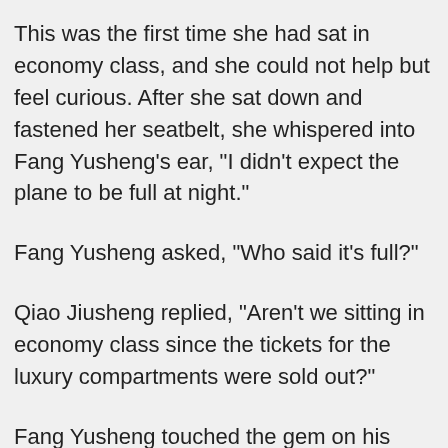This was the first time she had sat in economy class, and she could not help but feel curious. After she sat down and fastened her seatbelt, she whispered into Fang Yusheng’s ear, “I didn’t expect the plane to be full at night.”
Fang Yusheng asked, “Who said it’s full?”
Qiao Jiusheng replied, “Aren’t we sitting in economy class since the tickets for the luxury compartments were sold out?”
Fang Yusheng touched the gem on his cane and confessed the truth. “No, economy class tickets are cheap, and there’s even a discount late at night.”